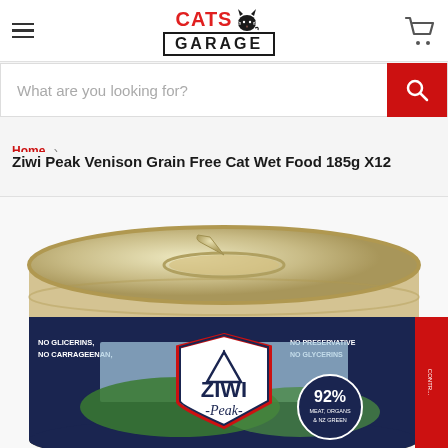Cats Garage — hamburger menu, logo, cart icon
What are you looking for?
Home › Ziwi Peak Venison Grain Free Cat Wet Food 185g X12
Ziwi Peak Venison Grain Free Cat Wet Food 185g X12
[Figure (photo): Product photo of a Ziwi Peak cat wet food can (185g), showing the top of the can with pull-tab lid. The label shows 'ZIWI Peak' branding in navy and red shield design, '92% MEAT, ORGANS & NZ GREEN', and text reading 'NO PRESERVATIVES, NO GLYCERINS, NO CARRAGEENAN' on the side.]